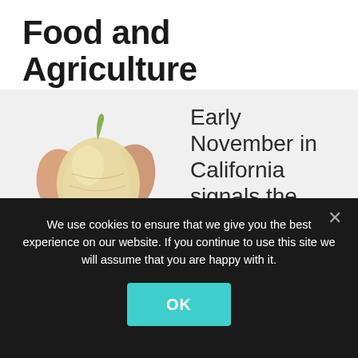Food and Agriculture
November 3, 2016   Melody Meyer
[Figure (photo): An onion with its skin peeling away, photographed on a white/light gray background]
Early November in California signals the
We use cookies to ensure that we give you the best experience on our website. If you continue to use this site we will assume that you are happy with it.